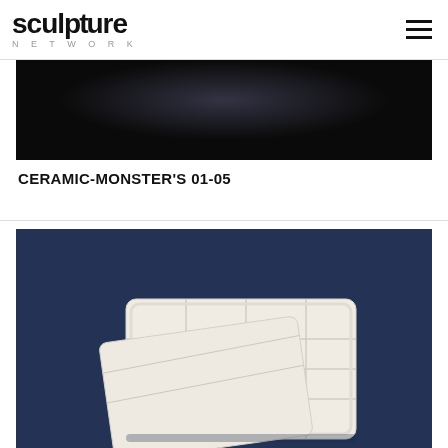sculpture NETWORK
[Figure (photo): Dark background artwork photo, partially visible at top of first card]
CERAMIC-MONSTER'S 01-05
[Figure (photo): White ceramic sculpture shaped like a geometric rectangular form with grid-like surface, placed on dark blue fabric background]
"GEOMETRIE UND ZAHLEN" 20